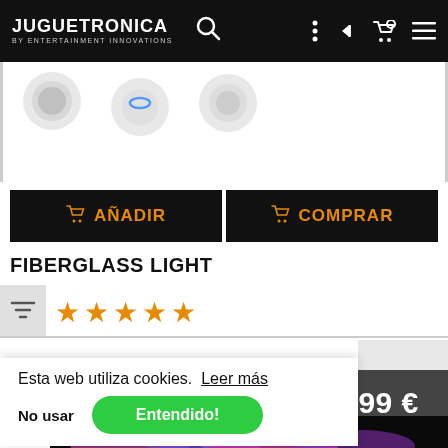JUGUETRONICA BY ENTERTAINMENT INNOVATIONS
[Figure (screenshot): Product thumbnail images of fiberglass light ball products shown at top of product page]
🛒 AÑADIR   🛒 COMPRAR
FIBERGLASS LIGHT
[Figure (other): 5 orange stars rating]
Esta web utiliza cookies.  Leer más
No usar   Entendido!
39.99 €
[Figure (photo): Plasma ball with pink and blue light effects on black background]